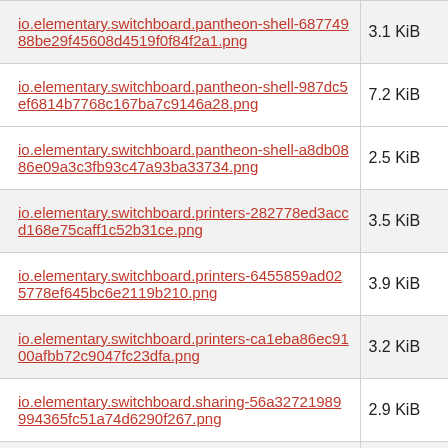| Filename | Size |
| --- | --- |
| io.elementary.switchboard.pantheon-shell-68774988be29f45608d4519f0f84f2a1.png | 3.1 KiB |
| io.elementary.switchboard.pantheon-shell-987dc5ef6814b7768c167ba7c9146a28.png | 7.2 KiB |
| io.elementary.switchboard.pantheon-shell-a8db0886e09a3c3fb93c47a93ba33734.png | 2.5 KiB |
| io.elementary.switchboard.printers-282778ed3accd168e75caff1c52b31ce.png | 3.5 KiB |
| io.elementary.switchboard.printers-6455859ad025778ef645bc6e2119b210.png | 3.9 KiB |
| io.elementary.switchboard.printers-ca1eba86ec9100afbb72c9047fc23dfa.png | 3.2 KiB |
| io.elementary.switchboard.sharing-56a32721989994365fc51a74d6290f267.png | 2.9 KiB |
| io.elementary.switchboard.sound- |  |